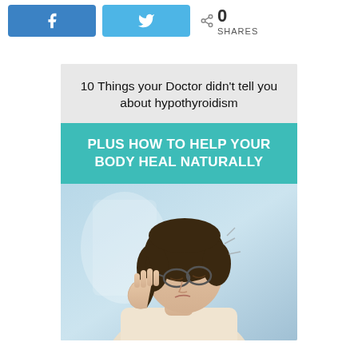[Figure (infographic): Social share bar with Facebook and Twitter buttons and 0 shares count]
[Figure (infographic): Promotional card: '10 Things your Doctor didn't tell you about hypothyroidism PLUS HOW TO HELP YOUR BODY HEAL NATURALLY' with image of stressed woman holding her head]